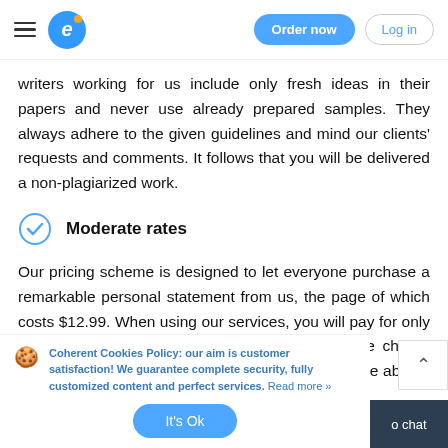e [logo] | Order now | Log in
writers working for us include only fresh ideas in their papers and never use already prepared samples. They always adhere to the given guidelines and mind our clients' requests and comments. It follows that you will be delivered a non-plagiarized work.
Moderate rates
Our pricing scheme is designed to let everyone purchase a remarkable personal statement from us, the page of which costs $12.99. When using our services, you will pay for only the options which you tick in the order form. We charge affordable prices since we want our customers to be able to spend money not only on
Coherent Cookies Policy: our aim is customer satisfaction! We guarantee complete security, fully customized content and perfect services. Read more »
It's Ok